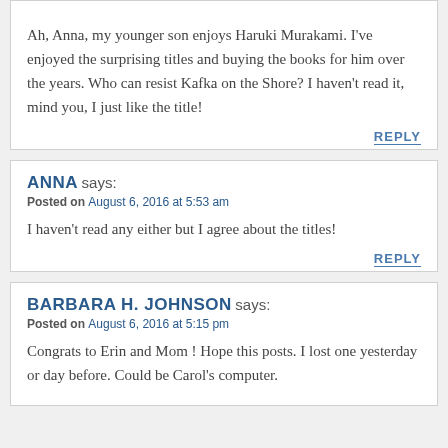Ah, Anna, my younger son enjoys Haruki Murakami. I've enjoyed the surprising titles and buying the books for him over the years. Who can resist Kafka on the Shore? I haven't read it, mind you, I just like the title!
REPLY
ANNA says: Posted on August 6, 2016 at 5:53 am
I haven't read any either but I agree about the titles!
REPLY
BARBARA H. JOHNSON says: Posted on August 6, 2016 at 5:15 pm
Congrats to Erin and Mom ! Hope this posts. I lost one yesterday or day before. Could be Carol's computer.